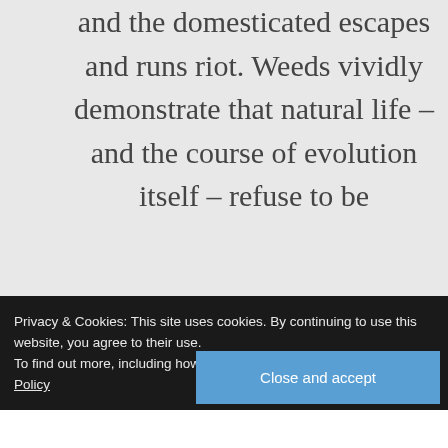and the domesticated escapes and runs riot. Weeds vividly demonstrate that natural life – and the course of evolution itself – refuse to be
Privacy & Cookies: This site uses cookies. By continuing to use this website, you agree to their use. To find out more, including how to control cookies, see here: Cookie Policy
Close and accept